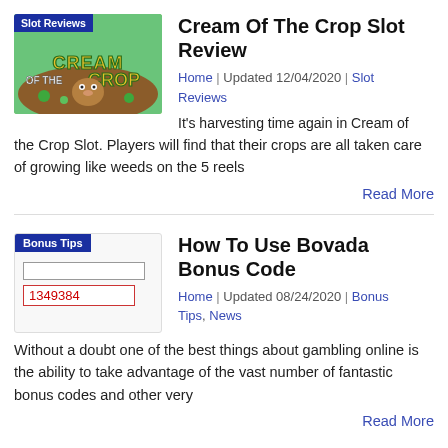[Figure (screenshot): Cream of the Crop slot game thumbnail with 'Slot Reviews' blue label banner and cartoon farming scene]
Cream Of The Crop Slot Review
Home | Updated 12/04/2020 | Slot Reviews
It's harvesting time again in Cream of the Crop Slot. Players will find that their crops are all taken care of growing like weeds on the 5 reels
Read More
[Figure (screenshot): Bonus Tips thumbnail with blue 'Bonus Tips' label, a search bar graphic, and a red-text code '1349384']
How To Use Bovada Bonus Code
Home | Updated 08/24/2020 | Bonus Tips, News
Without a doubt one of the best things about gambling online is the ability to take advantage of the vast number of fantastic bonus codes and other very
Read More